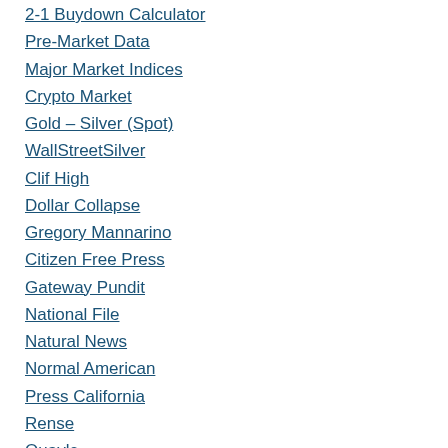2-1 Buydown Calculator
Pre-Market Data
Major Market Indices
Crypto Market
Gold – Silver (Spot)
WallStreetSilver
Clif High
Dollar Collapse
Gregory Mannarino
Citizen Free Press
Gateway Pundit
National File
Natural News
Normal American
Press California
Rense
Quayle
WRSA
Bracken